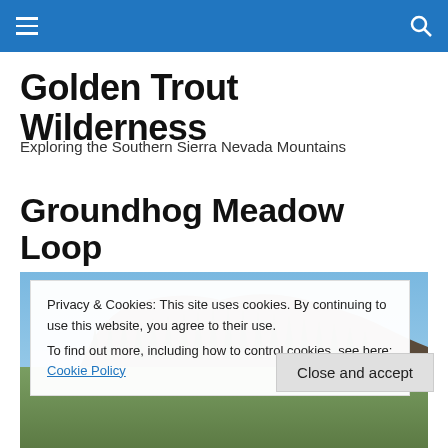Navigation bar with menu icon and search icon
Golden Trout Wilderness
Exploring the Southern Sierra Nevada Mountains
Groundhog Meadow Loop
[Figure (photo): Photograph of a forested mountain ridge under a blue sky, with green ground vegetation visible at the bottom.]
Privacy & Cookies: This site uses cookies. By continuing to use this website, you agree to their use.
To find out more, including how to control cookies, see here: Cookie Policy
Close and accept